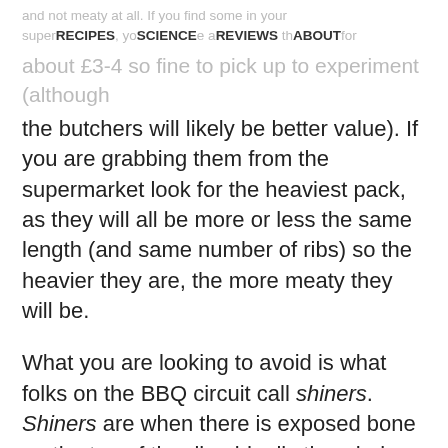and not meaty at all. If you find some in your supermarket, you can be able to look the for about £3-4 so fine to pick up to experiment (although
RECIPES   SCIENCE   REVIEWS   ABOUT
the butchers will likely be better value). If you are grabbing them from the supermarket look for the heaviest pack, as they will all be more or less the same length (and same number of ribs) so the heavier they are, the more meaty they will be.
What you are looking to avoid is what folks on the BBQ circuit call shiners. Shiners are when there is exposed bone on the top of the ribs, ideally the whole rack will have a decent layer of meat across the top, covering all the bones. When I have bought them from the supermarket they are often pretty much all shiners, which means you are left with only the meat between the ribs. But, get whatever you...